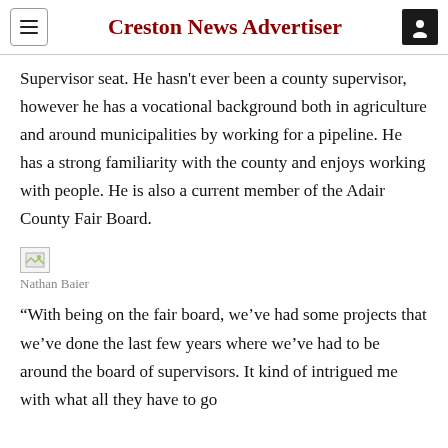Creston News Advertiser
Supervisor seat. He hasn't ever been a county supervisor, however he has a vocational background both in agriculture and around municipalities by working for a pipeline. He has a strong familiarity with the county and enjoys working with people. He is also a current member of the Adair County Fair Board.
[Figure (photo): Broken image placeholder for Nathan Baier photo]
Nathan Baier
“With being on the fair board, we’ve had some projects that we’ve done the last few years where we’ve had to be around the board of supervisors. It kind of intrigued me with what all they have to go